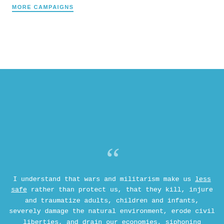MORE CAMPAIGNS
I understand that wars and militarism make us less safe rather than protect us, that they kill, injure and traumatize adults, children and infants, severely damage the natural environment, erode civil liberties, and drain our economies, siphoning resources from life-affirming activities. I commit to engage in and support nonviolent efforts to end all war and preparations for war and to create a sustainable and just peace.